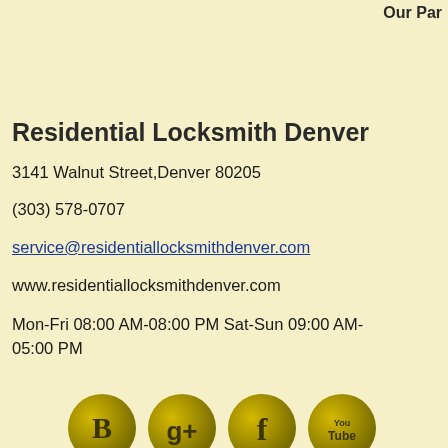Our Par
Residential Locksmith Denver
3141 Walnut Street,Denver 80205
(303) 578-0707
service@residentiallocksmithdenver.com
www.residentiallocksmithdenver.com
Mon-Fri 08:00 AM-08:00 PM Sat-Sun 09:00 AM-05:00 PM
[Figure (logo): Four social media icon buttons (Blogger, Google+, Facebook, YouTube) rendered as golden circular buttons]
Streets we serve
W 83rd Ave, S Birch St, W Princeton Ave, Osage St, Pikes Peak Ct, Polo Club Cir, Olive St, Lipan Dr, 38th St, E Floyd Ave, S Ivanhoe Pl, E 46th Pl, Girard Ave, S Julian St, 22nd St, Sheldon Dr, Alley, E Topeka Ct, W Tufts Ave, Ceylon St, Kalamath St, Hwy 2, W Center Ave, Alcott St, E Hamilton Pl, Berkeley Pl, 11th St, Central Park Blvd, Jolene Dr, W Myrtle Pl.
Copyright © 2016 residentiallocksmithdenver.com. All Rights